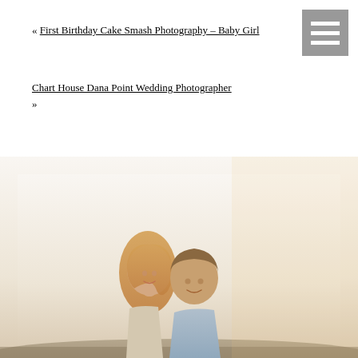navigation menu icon
« First Birthday Cake Smash Photography – Baby Girl
Chart House Dana Point Wedding Photographer »
[Figure (photo): Outdoor engagement or couples portrait photo showing a woman with long blonde hair and a man in a light blue polo shirt, smiling together outdoors at golden hour with a bright hazy sky background]